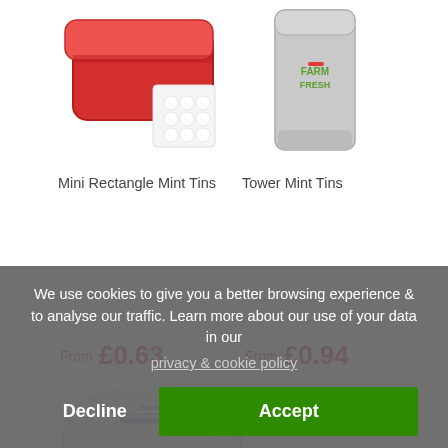[Figure (photo): Mini Rectangle Mint Tins product photo - red rectangular tin with small mints visible]
Mini Rectangle Mint Tins
From  £0.63
[Figure (photo): Tower Mint Tins product photo - tall silver tin with 'Farm Fresh' branding]
Tower Mint Tins
From  £0.94
[Figure (photo): Silver round mint tin with 'Graphic' logo printed on lid]
We use cookies to give you a better browsing experience & to analyse our traffic. Learn more about our use of your data in our privacy & cookie policy
Decline
Accept